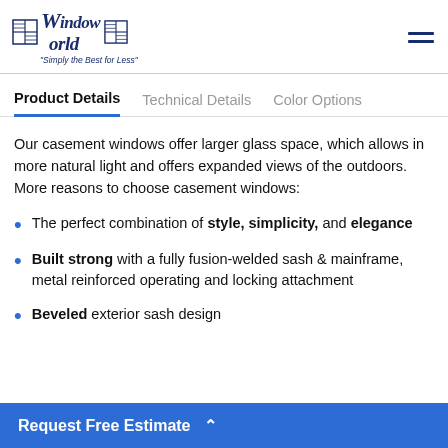Window World — Simply the Best for Less™
Product Details | Technical Details | Color Options
Our casement windows offer larger glass space, which allows in more natural light and offers expanded views of the outdoors. More reasons to choose casement windows:
The perfect combination of style, simplicity, and elegance
Built strong with a fully fusion-welded sash & mainframe, metal reinforced operating and locking attachment
Beveled exterior sash design
Request Free Estimate ^